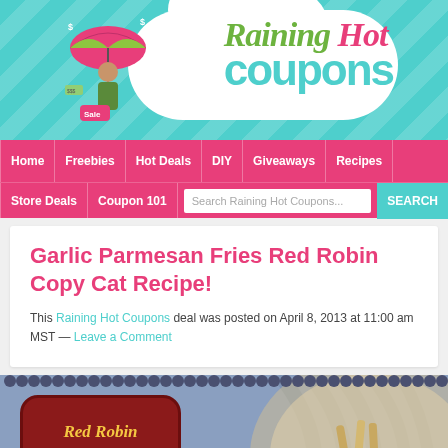[Figure (logo): Raining Hot Coupons website logo with cartoon woman holding umbrella, colorful banner with teal chevron background]
Home | Freebies | Hot Deals | DIY | Giveaways | Recipes | Store Deals | Coupon 101 | Search Raining Hot Coupons... SEARCH
Garlic Parmesan Fries Red Robin Copy Cat Recipe!
This Raining Hot Coupons deal was posted on April 8, 2013 at 11:00 am MST — Leave a Comment
[Figure (photo): Red Robin Copy Cat recipe image showing garlic parmesan fries with a dark red badge label reading 'Red Robin Copy Cat', and overlay text reading 'Garlic Parmesan Fries']